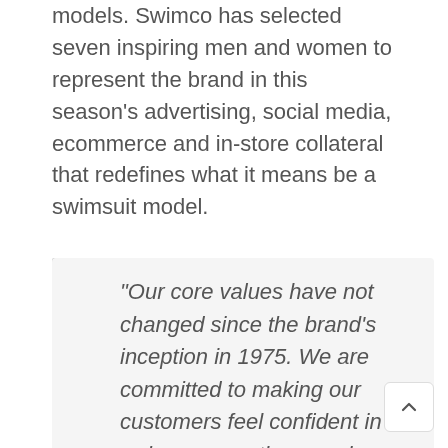models. Swimco has selected seven inspiring men and women to represent the brand in this season's advertising, social media, ecommerce and in-store collateral that redefines what it means be a swimsuit model.
“Our core values have not changed since the brand’s inception in 1975. We are committed to making our customers feel confident in swimwear, so they can be free to enjoy some of the best experiences of their lives. That’s what we are really trying to express with this